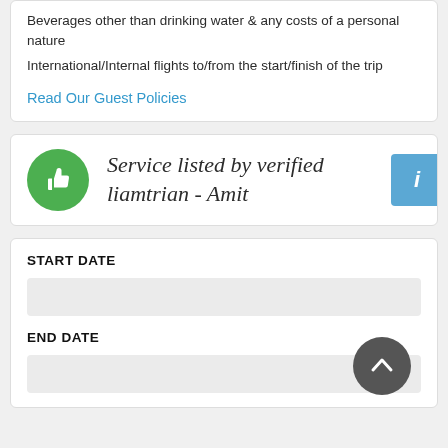Beverages other than drinking water & any costs of a personal nature
International/Internal flights to/from the start/finish of the trip
Read Our Guest Policies
Service listed by verified liamtrian - Amit
START DATE
END DATE